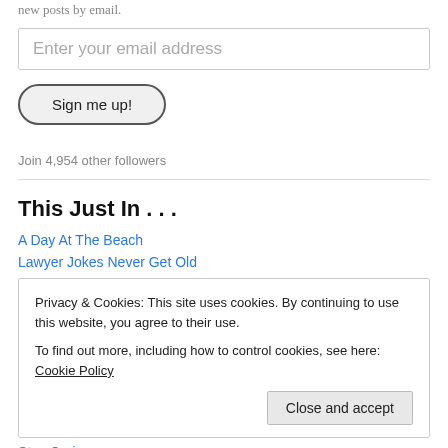new posts by email.
Enter your email address
Sign me up!
Join 4,954 other followers
This Just In . . .
A Day At The Beach
Lawyer Jokes Never Get Old
Privacy & Cookies: This site uses cookies. By continuing to use this website, you agree to their use.
To find out more, including how to control cookies, see here: Cookie Policy
Close and accept
Stay Curious